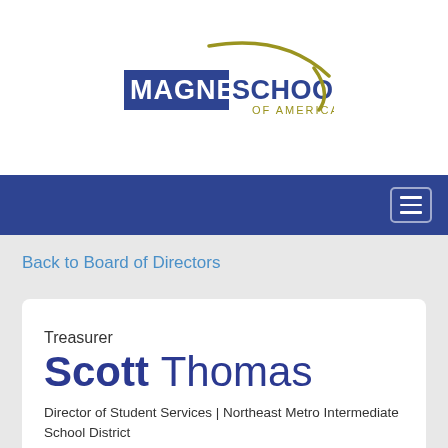[Figure (logo): Magnet Schools of America logo with navy rectangle, gold arc, and stylized text]
[Figure (other): Navy navigation bar with hamburger menu icon (three horizontal lines in a bordered box)]
Back to Board of Directors
Treasurer
Scott Thomas
Director of Student Services | Northeast Metro Intermediate School District
Translate »